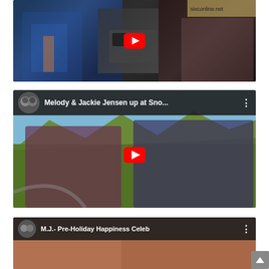[Figure (screenshot): YouTube video thumbnail showing two people in an interview setting at an event, with a YouTube play button overlay. Background shows event signage.]
[Figure (screenshot): YouTube video thumbnail with header showing avatar and title 'Melody & Jackie Jensen up at Sno...' with three-dot menu. Video shows two women outdoors with mountain/forest scenery. Large YouTube play button in center.]
[Figure (screenshot): Partially visible YouTube video thumbnail with header showing avatar and title 'M.J.- Pre-Holiday Happiness Celeb' with three-dot menu. Bottom of page is cut off.]